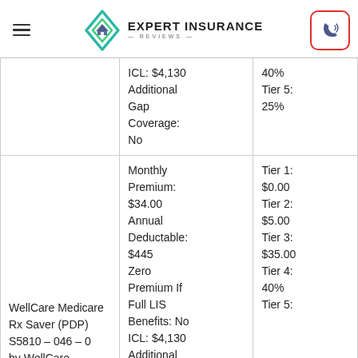Expert Insurance Reviews
| Plan | Details | Tiers |
| --- | --- | --- |
|  | ICL: $4,130
Additional Gap Coverage: No | 40%
Tier 5: 25% |
| WellCare Medicare Rx Saver (PDP) S5810 – 046 – 0 by WellCare | Monthly Premium: $34.00
Annual Deductable: $445
Zero Premium If Full LIS Benefits: No
ICL: $4,130
Additional | Tier 1: $0.00
Tier 2: $5.00
Tier 3: $35.00
Tier 4: 40%
Tier 5: |